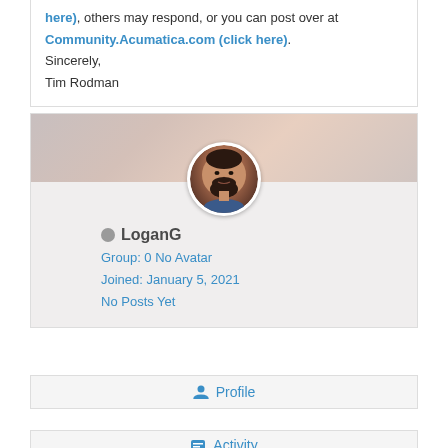here), others may respond, or you can post over at Community.Acumatica.com (click here).
Sincerely,
Tim Rodman
[Figure (photo): User profile card for LoganG showing a circular avatar photo of a bearded man, username LoganG with a grey status dot, Group: 0 No Avatar, Joined: January 5, 2021, No Posts Yet]
LoganG
Group: 0 No Avatar
Joined: January 5, 2021
No Posts Yet
Profile
Activity